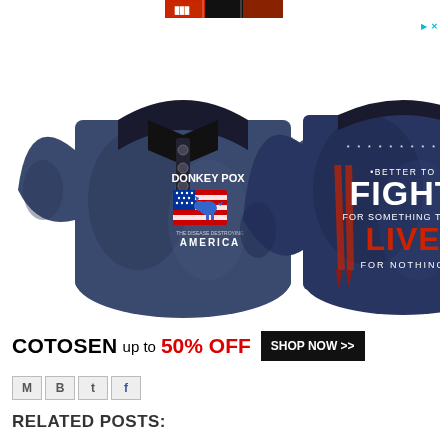[Figure (photo): Top banner image strip showing partial book/magazine covers]
[Figure (photo): Advertisement image showing two views of a navy blue Henley shirt. Front view shows 'DONKEY POX THE DISEASE DESTROYING AMERICA' with American flag donkey graphic. Back view shows 'BETTER TO FIGHT FOR SOMETHING THAN LIVE FOR NOTHING' with American flag design in red, white, and blue.]
COTOSEN up to 50% OFF  SHOP NOW >>
[Figure (infographic): Social share icons: M (email), B (bloglovin), t (twitter), f (facebook)]
RELATED POSTS: